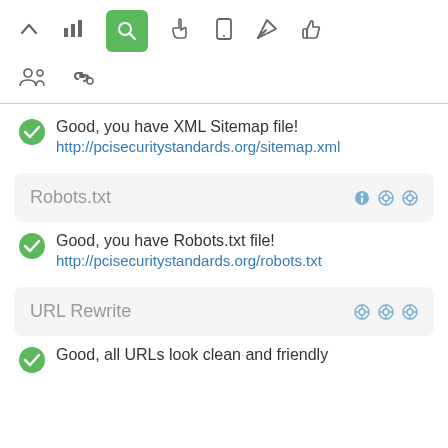[Figure (screenshot): Top navigation toolbar with icons: up arrow, bar chart, search (active/green), pointer hand, mobile, send/rocket, thumbs up]
[Figure (screenshot): Second toolbar row with icons: group/people, link/chain]
Good, you have XML Sitemap file!
http://pcisecuritystandards.org/sitemap.xml
Robots.txt
Good, you have Robots.txt file!
http://pcisecuritystandards.org/robots.txt
URL Rewrite
Good, all URLs look clean and friendly